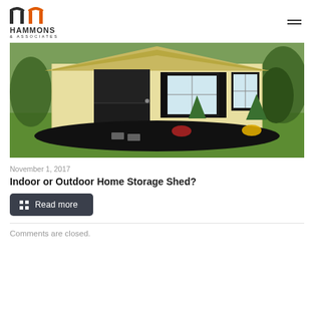HAMMONS & ASSOCIATES
[Figure (photo): Outdoor storage shed with cream/yellow siding, black barn-style door, two windows with black shutters, surrounded by dark mulch, small evergreen shrubs, and flowering plants in a grassy yard.]
November 1, 2017
Indoor or Outdoor Home Storage Shed?
Read more
Comments are closed.